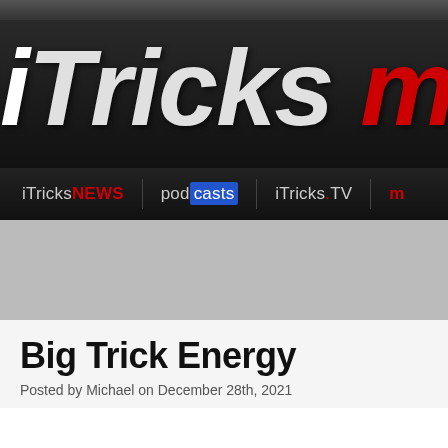[Figure (screenshot): iTricks website header with logo showing 'iTricks ma...' in large italic text on dark background]
iTricksNEWS | podcasts | iTricks.TV
Big Trick Energy
Posted by Michael on December 28th, 2021